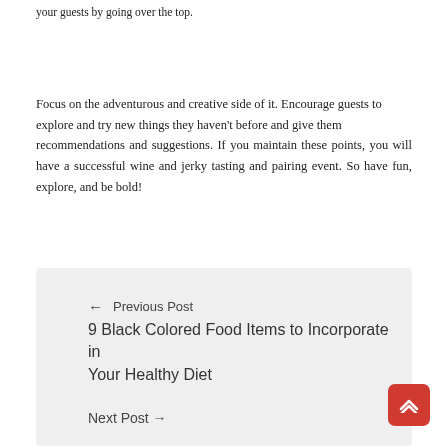your guests by going over the top.
Focus on the adventurous and creative side of it. Encourage guests to explore and try new things they haven't before and give them recommendations and suggestions. If you maintain these points, you will have a successful wine and jerky tasting and pairing event. So have fun, explore, and be bold!
← Previous Post
9 Black Colored Food Items to Incorporate in Your Healthy Diet
Next Post →